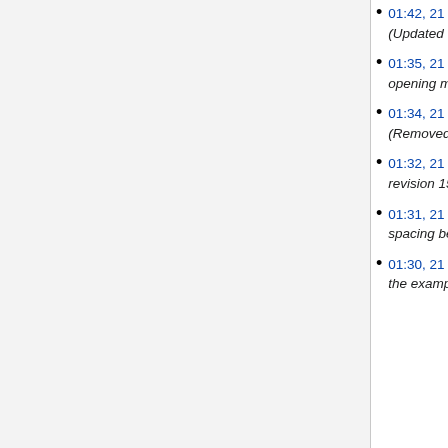01:42, 21 January 2022 (diff | hist) . . (+228) . . Multiply Scalar (Updated to be correct for scalars, not using the colour example.)
01:35, 21 January 2022 (diff | hist) . . (-8) . . Add Colour (Made opening more specific to Add Colour)
01:34, 21 January 2022 (diff | hist) . . (+14) . . Add Vector (Removed spaces between X,Y,Z lines, added line breaks instead)
01:32, 21 January 2022 (diff | hist) . . (+2) . . Add Vector (Undo revision 15718 by Matt (talk)) (Tag: Undo)
01:31, 21 January 2022 (diff | hist) . . (-2) . . Add Vector (Removed spacing between X, Y, Z lines)
01:30, 21 January 2022 (diff | hist) . . (-14) . . Add Vector (Changed the example math from colour to vector.)